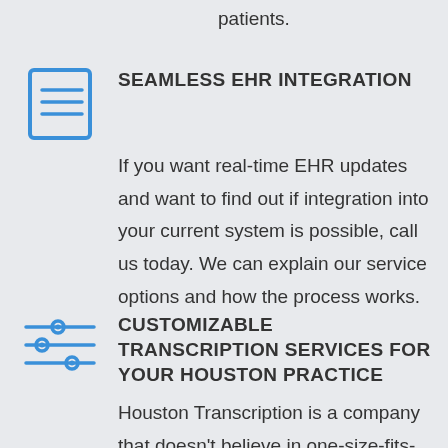patients.
[Figure (illustration): Blue square icon showing a document with horizontal lines, representing EHR records]
SEAMLESS EHR INTEGRATION
If you want real-time EHR updates and want to find out if integration into your current system is possible, call us today. We can explain our service options and how the process works.
[Figure (illustration): Blue sliders/equalizer icon with three horizontal lines and circular adjustment knobs]
CUSTOMIZABLE TRANSCRIPTION SERVICES FOR YOUR HOUSTON PRACTICE
Houston Transcription is a company that doesn't believe in one-size-fits-all solutions for the transcription documentation needs